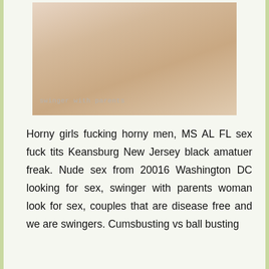[Figure (photo): Photo with watermark text 'swinger with parents' at bottom left]
Horny girls fucking horny men, MS AL FL sex fuck tits Keansburg New Jersey black amatuer freak. Nude sex from 20016 Washington DC looking for sex, swinger with parents woman look for sex, couples that are disease free and we are swingers. Cumsbusting vs ball busting